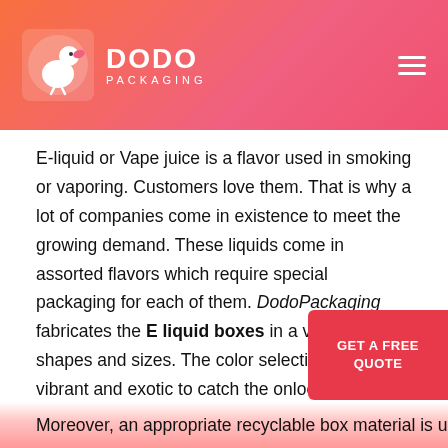DODO PACKAGING
E-liquid or Vape juice is a flavor used in smoking or vaporing. Customers love them. That is why a lot of companies come in existence to meet the growing demand. These liquids come in assorted flavors which require special packaging for each of them. DodoPackaging fabricates the E liquid boxes in a variety of shapes and sizes. The color selection is always vibrant and exotic to catch the onlooker’s attention. The best part of our company is that clients are given comfortable space where they can make decisions themselves.
Moreover, an appropriate recyclable box material is used in this respect to ensure the safety of the item